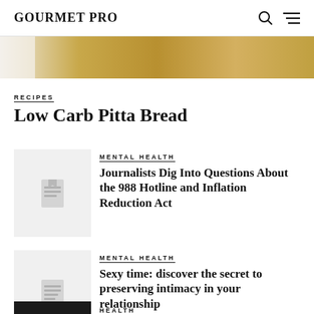GOURMET PRO
[Figure (photo): Partial photo of food, golden/beige colors at top of page]
RECIPES
Low Carb Pitta Bread
MENTAL HEALTH
Journalists Dig Into Questions About the 988 Hotline and Inflation Reduction Act
MENTAL HEALTH
Sexy time: discover the secret to preserving intimacy in your relationship
HEALTH